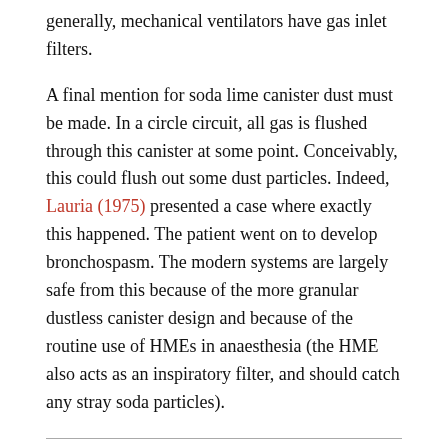generally, mechanical ventilators have gas inlet filters.
A final mention for soda lime canister dust must be made. In a circle circuit, all gas is flushed through this canister at some point. Conceivably, this could flush out some dust particles. Indeed, Lauria (1975) presented a case where exactly this happened. The patient went on to develop bronchospasm. The modern systems are largely safe from this because of the more granular dustless canister design and because of the routine use of HMEs in anaesthesia (the HME also acts as an inspiratory filter, and should catch any stray soda particles).
Gas supply filters
These filters are swapped out every 5,000 hrs of ventilator operation, which gives one an impression of how long it